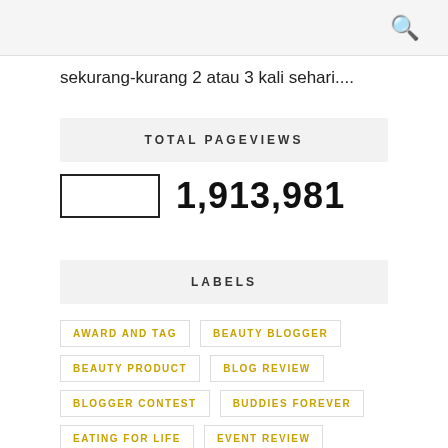sekurang-kurang 2 atau 3 kali sehari....
TOTAL PAGEVIEWS
1,913,981
LABELS
AWARD AND TAG
BEAUTY BLOGGER
BEAUTY PRODUCT
BLOG REVIEW
BLOGGER CONTEST
BUDDIES FOREVER
EATING FOR LIFE
EVENT REVIEW